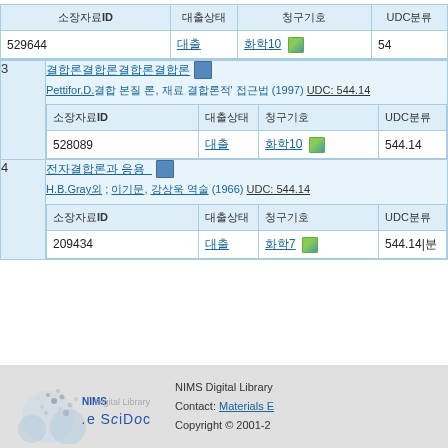| 소장자료ID | 대출상태 | 청구기호 | UDC분류 |
| --- | --- | --- | --- |
| 529644 | 대출 | 화학10 [img] | 54 |
| 소장자료ID | 대출상태 | 청구기호 | UDC분류 |
| --- | --- | --- | --- |
| 3 | Pettifor.D.결합의 본질, 재료 결합론적' 접근법 (1997) UDC: 544.14 |
| 528089 | 대출 | 화학10 [img] | 544.14 |
| 소장자료ID | 대출상태 | 청구기호 | UDC분류 |
| --- | --- | --- | --- |
| 4 | 전자결합론과 응 [img] |
| H.B.Gray외 ; 이기문, 강상욱 역술 (1966) UDC: 544.14 |
| 209434 | 대출 | 화학7 [img] | 544.14|분 |
NIMS Digital Library Contact: Materials E Copyright © 2001-2